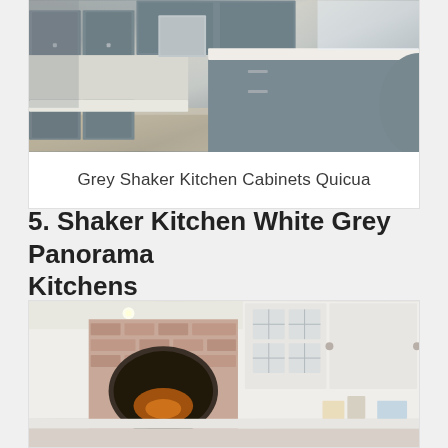[Figure (photo): Grey shaker kitchen with grey cabinets, large island with white countertop, stainless steel appliances, wood floor]
Grey Shaker Kitchen Cabinets Quicua
5. Shaker Kitchen White Grey Panorama Kitchens
[Figure (photo): White shaker kitchen with brick chimney breast, integrated oven, recessed lighting, white wall and base cabinets with glass-fronted upper units]